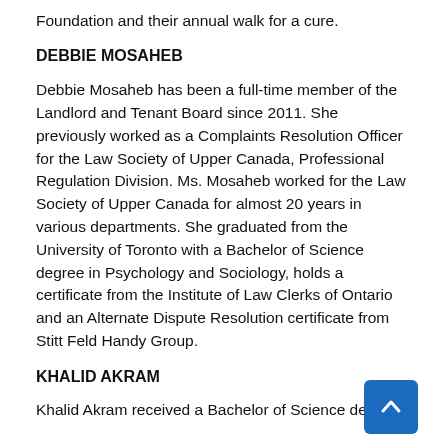Foundation and their annual walk for a cure.
DEBBIE MOSAHEB
Debbie Mosaheb has been a full-time member of the Landlord and Tenant Board since 2011. She previously worked as a Complaints Resolution Officer for the Law Society of Upper Canada, Professional Regulation Division. Ms. Mosaheb worked for the Law Society of Upper Canada for almost 20 years in various departments. She graduated from the University of Toronto with a Bachelor of Science degree in Psychology and Sociology, holds a certificate from the Institute of Law Clerks of Ontario and an Alternate Dispute Resolution certificate from Stitt Feld Handy Group.
KHALID AKRAM
Khalid Akram received a Bachelor of Science degree